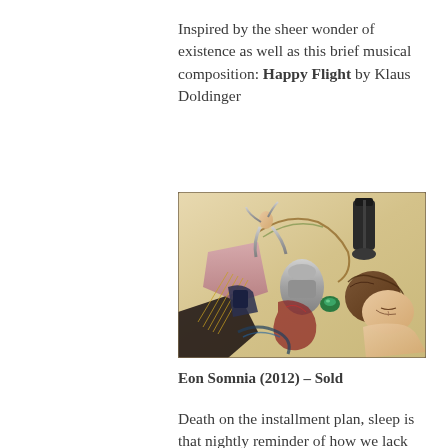Inspired by the sheer wonder of existence as well as this brief musical composition: Happy Flight by Klaus Doldinger
[Figure (illustration): A detailed, stylized artwork showing a sleeping woman with ornate, flowing decorative elements including machinery, foliage, and fantastical figures surrounding her — Eon Somnia (2012)]
Eon Somnia (2012) – Sold
Death on the installment plan, sleep is that nightly reminder of how we lack